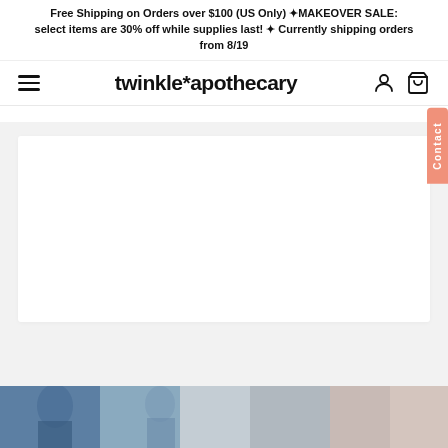Free Shipping on Orders over $100 (US Only) 🌟MAKEOVER SALE: select items are 30% off while supplies last! ✨ Currently shipping orders from 8/19
twinkle*apothecary
[Figure (screenshot): E-commerce website screenshot showing the twinkle*apothecary homepage with navigation bar (hamburger menu, logo, account and cart icons), a white product image area, and a partial bottom lifestyle photo strip.]